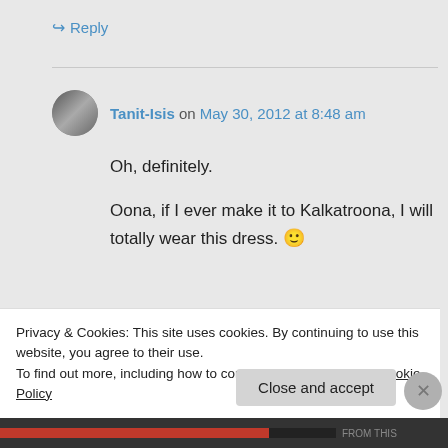↪ Reply
Tanit-Isis on May 30, 2012 at 8:48 am
Oh, definitely.

Oona, if I ever make it to Kalkatroona, I will totally wear this dress. 🙂
↪ Reply
Privacy & Cookies: This site uses cookies. By continuing to use this website, you agree to their use.
To find out more, including how to control cookies, see here: Cookie Policy
Close and accept